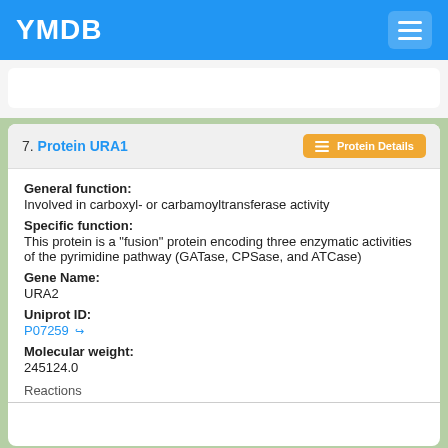YMDB
7. Protein URA1
General function:
Involved in carboxyl- or carbamoyltransferase activity
Specific function:
This protein is a "fusion" protein encoding three enzymatic activities of the pyrimidine pathway (GATase, CPSase, and ATCase)
Gene Name:
URA2
Uniprot ID:
P07259
Molecular weight:
245124.0
Reactions